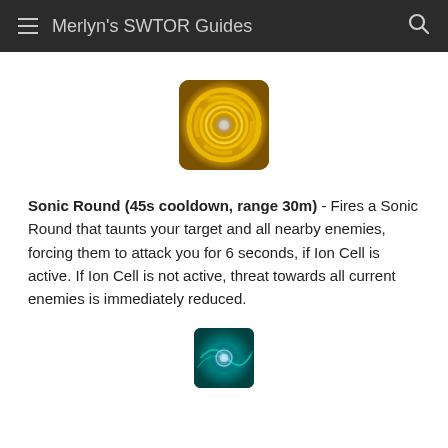Merlyn's SWTOR Guides
[Figure (illustration): Sonic Round ability icon — golden yellow swirl spiral on a dark amber/brown background, rounded square shape]
Sonic Round (45s cooldown, range 30m) - Fires a Sonic Round that taunts your target and all nearby enemies, forcing them to attack you for 6 seconds, if Ion Cell is active.  If Ion Cell is not active, threat towards all current enemies is immediately reduced.
[Figure (illustration): Partially visible ability icon — teal/cyan and dark background with a circular glowing element, rounded square shape]